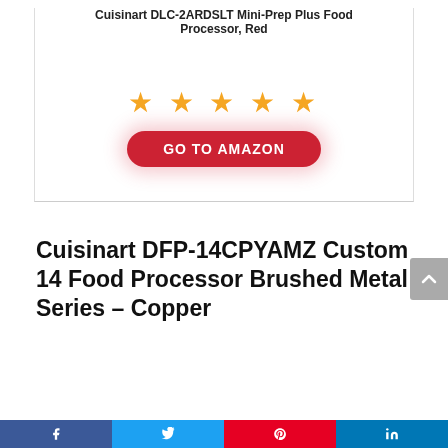Cuisinart DLC-2ARDSLT Mini-Prep Plus Food Processor, Red
[Figure (other): Five orange star rating icons]
[Figure (other): GO TO AMAZON button with red rounded pill background]
Cuisinart DFP-14CPYAMZ Custom 14 Food Processor Brushed Metal Series – Copper
[Figure (other): Social media share bar at bottom: Facebook, Twitter, Pinterest, LinkedIn icons]